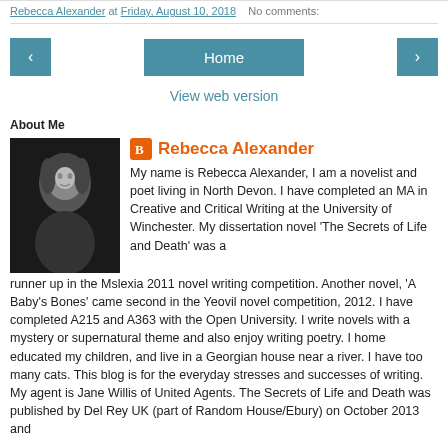Rebecca Alexander at Friday, August 10, 2018   No comments:
About Me
[Figure (photo): Black and white portrait photo of Rebecca Alexander, a woman with shoulder-length hair, smiling slightly.]
Rebecca Alexander
My name is Rebecca Alexander, I am a novelist and poet living in North Devon. I have completed an MA in Creative and Critical Writing at the University of Winchester. My dissertation novel 'The Secrets of Life and Death' was a runner up in the Mslexia 2011 novel writing competition. Another novel, 'A Baby's Bones' came second in the Yeovil novel competition, 2012. I have completed A215 and A363 with the Open University. I write novels with a mystery or supernatural theme and also enjoy writing poetry. I home educated my children, and live in a Georgian house near a river. I have too many cats. This blog is for the everyday stresses and successes of writing. My agent is Jane Willis of United Agents. The Secrets of Life and Death was published by Del Rey UK (part of Random House/Ebury) on October 2013 and